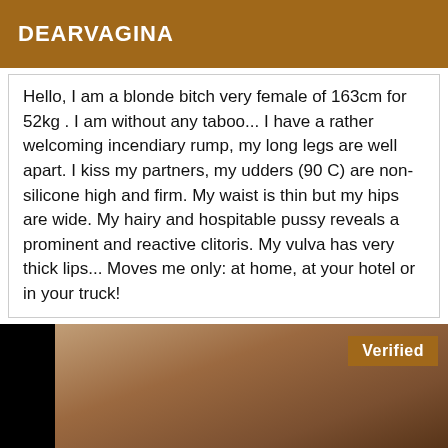DEARVAGINA
Hello, I am a blonde bitch very female of 163cm for 52kg . I am without any taboo... I have a rather welcoming incendiary rump, my long legs are well apart. I kiss my partners, my udders (90 C) are non-silicone high and firm. My waist is thin but my hips are wide. My hairy and hospitable pussy reveals a prominent and reactive clitoris. My vulva has very thick lips... Moves me only: at home, at your hotel or in your truck!
[Figure (photo): A photo with a 'Verified' badge overlay in the top right corner. The image shows an abstract close-up in warm brown tones with dark edges.]